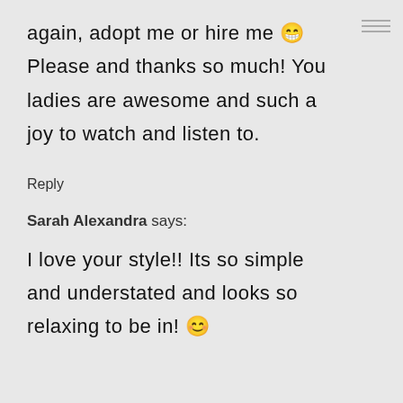again, adopt me or hire me 😁 Please and thanks so much! You ladies are awesome and such a joy to watch and listen to.
Reply
Sarah Alexandra says:
I love your style!! Its so simple and understated and looks so relaxing to be in! 😊